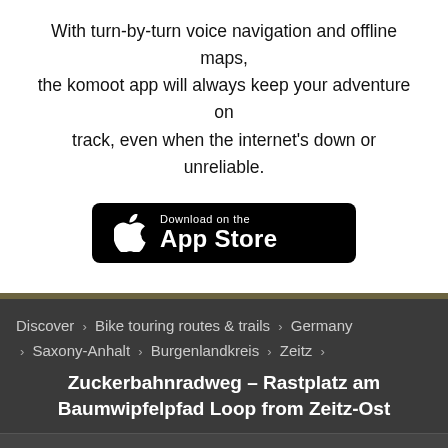With turn-by-turn voice navigation and offline maps, the komoot app will always keep your adventure on track, even when the internet's down or unreliable.
[Figure (logo): Download on the App Store button — black rounded rectangle with Apple logo icon and text 'Download on the App Store']
Discover > Bike touring routes & trails > Germany > Saxony-Anhalt > Burgenlandkreis > Zeitz >
Zuckerbahnradweg – Rastplatz am Baumwipfelpfad Loop from Zeitz-Ost
WHAT WE OFFER
Discover
Route planner
Features